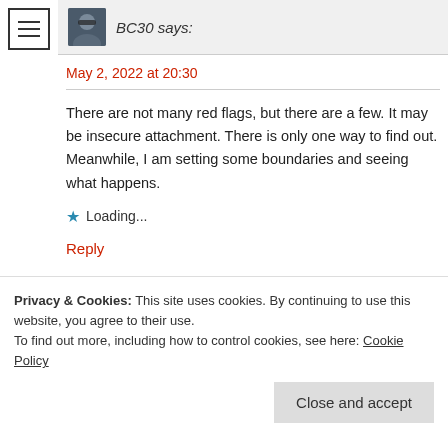[Figure (other): Hamburger menu icon (three horizontal lines) in a square border, top-left corner]
BC30 says:
May 2, 2022 at 20:30
There are not many red flags, but there are a few. It may be insecure attachment. There is only one way to find out. Meanwhile, I am setting some boundaries and seeing what happens.
Loading...
Reply
Privacy & Cookies: This site uses cookies. By continuing to use this website, you agree to their use.
To find out more, including how to control cookies, see here: Cookie Policy
Close and accept